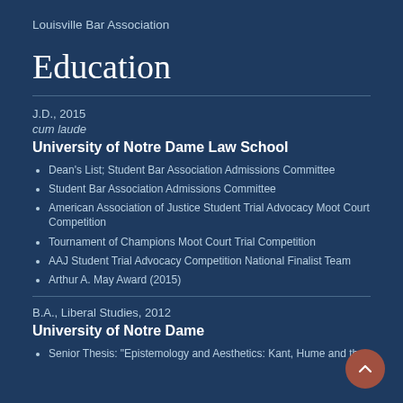Louisville Bar Association
Education
J.D., 2015
cum laude
University of Notre Dame Law School
Dean's List; Student Bar Association Admissions Committee
Student Bar Association Admissions Committee
American Association of Justice Student Trial Advocacy Moot Court Competition
Tournament of Champions Moot Court Trial Competition
AAJ Student Trial Advocacy Competition National Finalist Team
Arthur A. May Award (2015)
B.A., Liberal Studies, 2012
University of Notre Dame
Senior Thesis: "Epistemology and Aesthetics: Kant, Hume and the